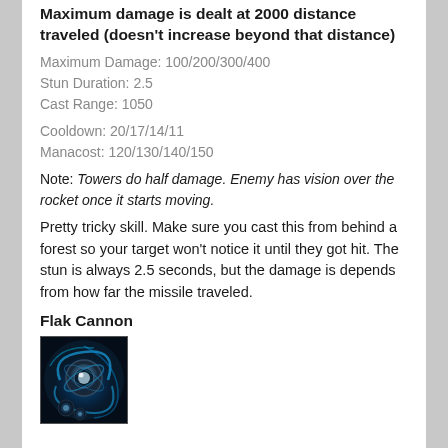Maximum damage is dealt at 2000 distance traveled (doesn't increase beyond that distance)
Maximum Damage: 100/200/300/400
Stun Duration: 2.5
Cast Range: 1050
Cooldown: 20/17/14/11
Manacost: 120/130/140/150
Note: Towers do half damage. Enemy has vision over the rocket once it starts moving.
Pretty tricky skill. Make sure you cast this from behind a forest so your target won't notice it until they got hit. The stun is always 2.5 seconds, but the damage is depends from how far the missile traveled.
Flak Cannon
[Figure (illustration): Game ability icon for Flak Cannon showing a mechanical orb with blue energy effects on dark background]